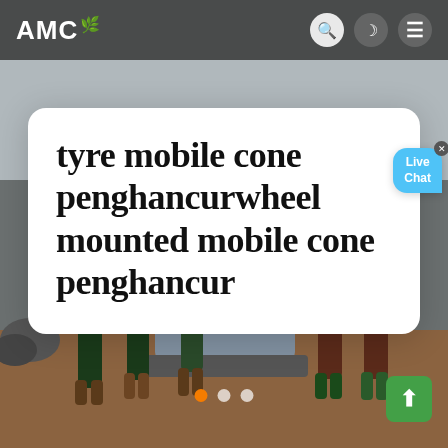[Figure (screenshot): Website screenshot showing AMC logo in top navigation bar with search, dark mode, and hamburger menu icons. Background shows a photo of workers standing around mining/crushing equipment on a dirt site. A white card overlay displays the article title. Live Chat bubble visible top right. Slider dots and scroll-to-top button at bottom.]
tyre mobile cone penghancurwheel mounted mobile cone penghancur